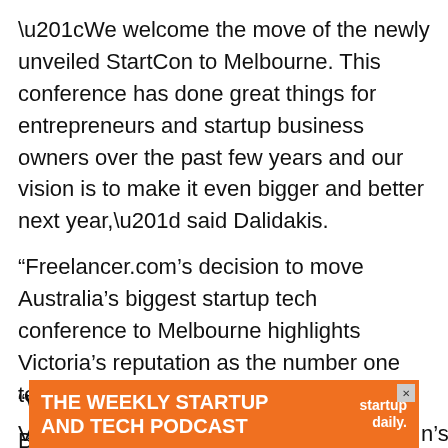“We welcome the move of the newly unveiled StartCon to Melbourne. This conference has done great things for entrepreneurs and startup business owners over the past few years and our vision is to make it even bigger and better next year,” said Dalidakis.
“Freelancer.com’s decision to move Australia’s biggest startup tech conference to Melbourne highlights Victoria’s reputation as the number one tech destination in Australia.”
Barrie announced that Sydstart secured $1 million in funding and additional in-kind marketing support from the Victorian government over a period of 5 years. He also acknowledged that the Victorian legislative environment is highly favourable to startups and the technology industry.
[Figure (other): Advertisement banner for 'The Weekly Startup and Tech Podcast' by startup daily, orange background with white bold text, partially overlaying article text]
“We are… the Victoria… ’s